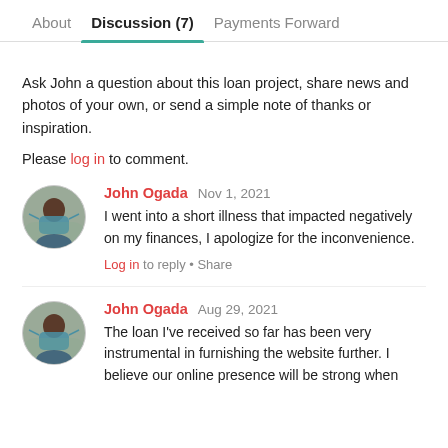About   Discussion (7)   Payments Forward
Ask John a question about this loan project, share news and photos of your own, or send a simple note of thanks or inspiration.
Please log in to comment.
John Ogada   Nov 1, 2021
I went into a short illness that impacted negatively on my finances, I apologize for the inconvenience.
Log in to reply • Share
John Ogada   Aug 29, 2021
The loan I've received so far has been very instrumental in furnishing the website further. I believe our online presence will be strong when